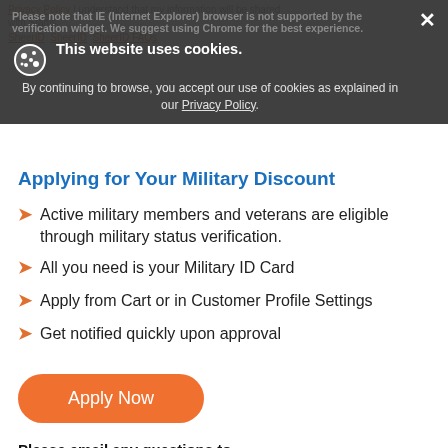[Figure (screenshot): Cookie consent banner overlay with cookie icon, title 'This website uses cookies.', body text about Privacy Policy, and close X button]
Applying for Your Military Discount
Active military members and veterans are eligible through military status verification.
All you need is your Military ID Card
Apply from Cart or in Customer Profile Settings
Get notified quickly upon approval
[Figure (other): Orange 'Apply Now' button]
Please email any questions to militarydiscount@stahls.com.
Military Discount Details: